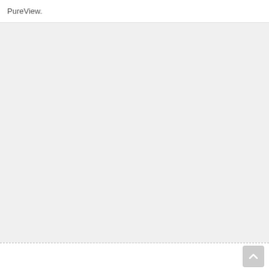PureView.
[Figure (other): Large light gray empty area filling most of the page below the header]
Back to top button at bottom right